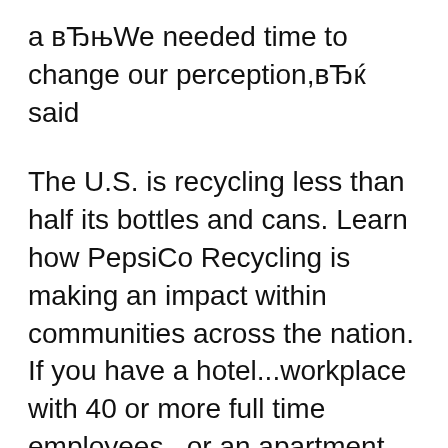a вЂњWe needed time to change our perception,вЂќ said
The U.S. is recycling less than half its bottles and cans. Learn how PepsiCo Recycling is making an impact within communities across the nation. If you have a hotel...workplace with 40 or more full time employees...or an apartment building then Vending Solutions can provide a free, fully serviced, Pepsi
Any person aged 18 years and older can apply to legally change names in Ontario, providing they have resided in Ontario for 12 months prior to applying. Application to Change Conditions, Use